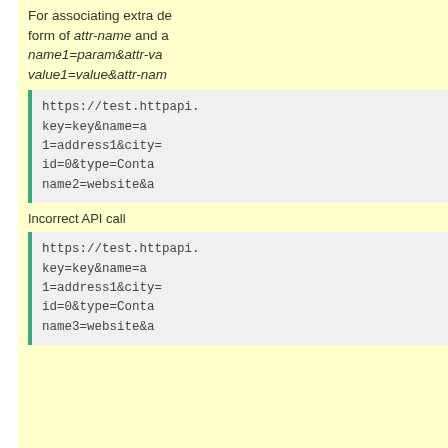For associating extra data with an object using custom attributes, provide attributes in the form of attr-name and attr-value pairs as query string parameters. e.g. attr-name1=param&attr-value1=value&attr-name2=...
https://test.httpapi...key=key&name=a...1=address1&city=...id=0&type=Conta...name2=website&a...
Incorrect API call
https://test.httpapi...key=key&name=a...1=address1&city=...id=0&type=Conta...name3=website&a...